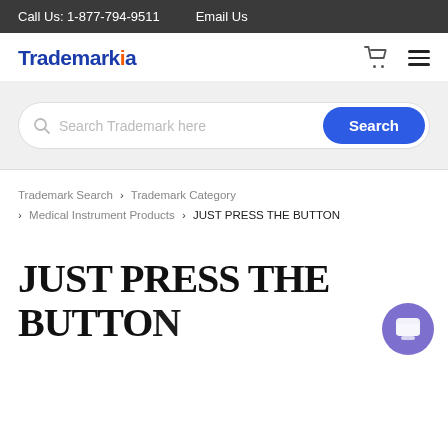Call Us: 1-877-794-9511   Email Us
[Figure (logo): Trademarkia logo — blue text with orange dot on letter i, plus cart icon and hamburger menu]
[Figure (screenshot): Search bar with placeholder 'Search Trademark here' and blue Search button]
Trademark Search > Trademark Category > Medical Instrument Products > JUST PRESS THE BUTTON
JUST PRESS THE BUTTON